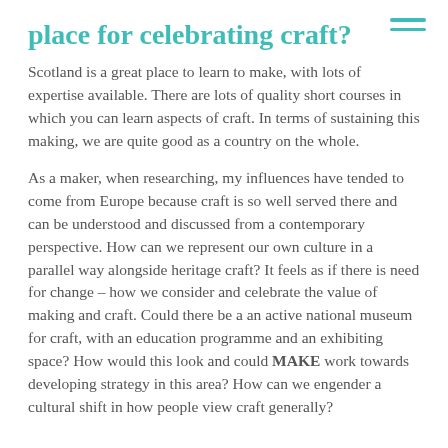place for celebrating craft?
Scotland is a great place to learn to make, with lots of expertise available. There are lots of quality short courses in which you can learn aspects of craft. In terms of sustaining this making, we are quite good as a country on the whole.
As a maker, when researching, my influences have tended to come from Europe because craft is so well served there and can be understood and discussed from a contemporary perspective. How can we represent our own culture in a parallel way alongside heritage craft? It feels as if there is need for change – how we consider and celebrate the value of making and craft. Could there be a an active national museum for craft, with an education programme and an exhibiting space? How would this look and could MAKE work towards developing strategy in this area? How can we engender a cultural shift in how people view craft generally?